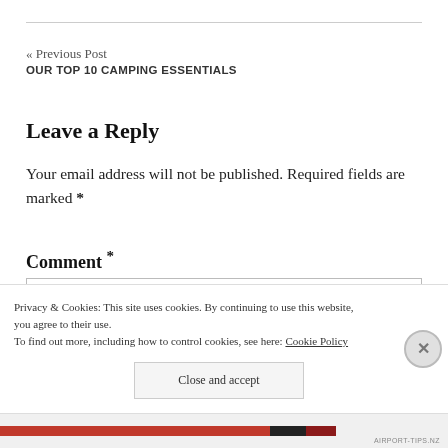« Previous Post
OUR TOP 10 CAMPING ESSENTIALS
Leave a Reply
Your email address will not be published. Required fields are marked *
Comment *
Privacy & Cookies: This site uses cookies. By continuing to use this website, you agree to their use.
To find out more, including how to control cookies, see here: Cookie Policy
Close and accept